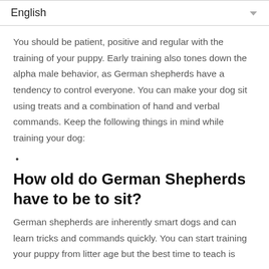English
You should be patient, positive and regular with the training of your puppy. Early training also tones down the alpha male behavior, as German shepherds have a tendency to control everyone. You can make your dog sit using treats and a combination of hand and verbal commands. Keep the following things in mind while training your dog:
•
How old do German Shepherds have to be to sit?
German shepherds are inherently smart dogs and can learn tricks and commands quickly. You can start training your puppy from litter age but the best time to teach is